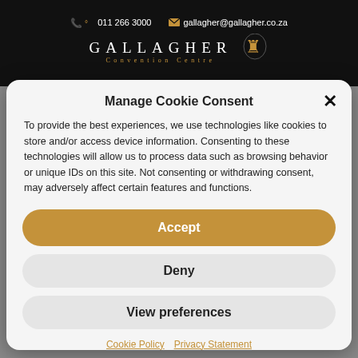011 266 3000   gallagher@gallagher.co.za
GALLAGHER
Convention Centre
Manage Cookie Consent
To provide the best experiences, we use technologies like cookies to store and/or access device information. Consenting to these technologies will allow us to process data such as browsing behavior or unique IDs on this site. Not consenting or withdrawing consent, may adversely affect certain features and functions.
Accept
Deny
View preferences
Cookie Policy   Privacy Statement